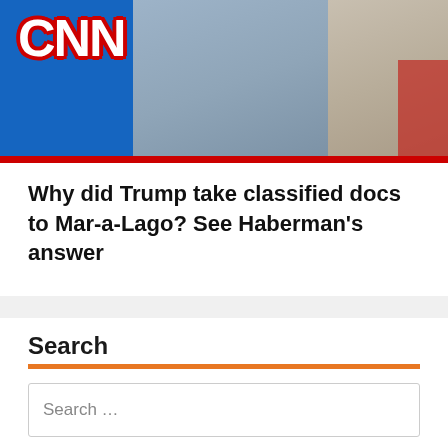[Figure (screenshot): CNN television screenshot showing two women in a studio setting with the CNN logo on a blue background with red border]
Why did Trump take classified docs to Mar-a-Lago? See Haberman’s answer
Search
Search …
Newsletter